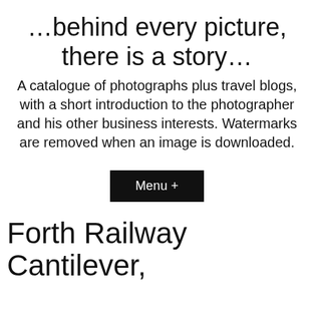…behind every picture, there is a story…
A catalogue of photographs plus travel blogs, with a short introduction to the photographer and his other business interests. Watermarks are removed when an image is downloaded.
Menu +
Forth Railway Cantilever,